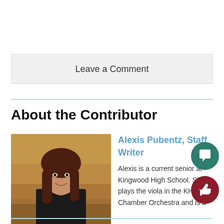Leave a Comment
About the Contributor
[Figure (photo): Photo of Alexis Pubentz, a young woman with long dark reddish-brown hair, wearing a black top, standing outdoors with a golden/autumn background]
Alexis Pubentz, Staff Writer
Alexis is a current senior at Kingwood High School. She plays the viola in the KHS Chamber Orchestra and is a member of Psychology Club, as well as several...